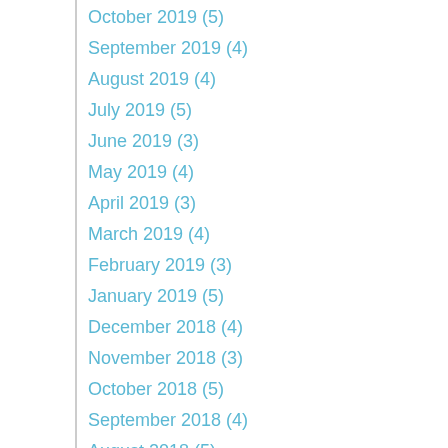October 2019 (5)
September 2019 (4)
August 2019 (4)
July 2019 (5)
June 2019 (3)
May 2019 (4)
April 2019 (3)
March 2019 (4)
February 2019 (3)
January 2019 (5)
December 2018 (4)
November 2018 (3)
October 2018 (5)
September 2018 (4)
August 2018 (5)
July 2018 (4)
June 2018 (4)